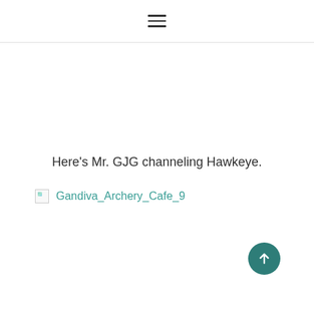☰ (hamburger menu icon)
Here's Mr. GJG channeling Hawkeye.
[Figure (other): Broken image placeholder with link text 'Gandiva_Archery_Cafe_9' in teal color]